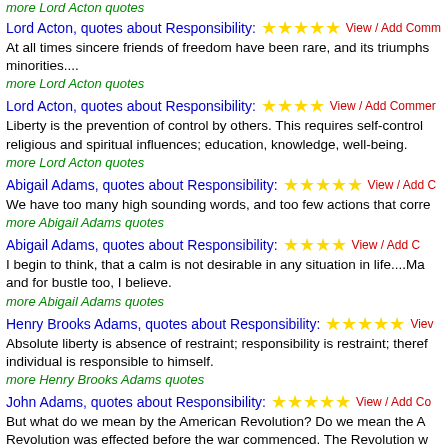more Lord Acton quotes
Lord Acton, quotes about Responsibility:
At all times sincere friends of freedom have been rare, and its triumphs minorities....
more Lord Acton quotes
Lord Acton, quotes about Responsibility:
Liberty is the prevention of control by others. This requires self-control religious and spiritual influences; education, knowledge, well-being.
more Lord Acton quotes
Abigail Adams, quotes about Responsibility:
We have too many high sounding words, and too few actions that corre
more Abigail Adams quotes
Abigail Adams, quotes about Responsibility:
I begin to think, that a calm is not desirable in any situation in life....Ma and for bustle too, I believe.
more Abigail Adams quotes
Henry Brooks Adams, quotes about Responsibility:
Absolute liberty is absence of restraint; responsibility is restraint; theref individual is responsible to himself.
more Henry Brooks Adams quotes
John Adams, quotes about Responsibility:
But what do we mean by the American Revolution? Do we mean the A Revolution was effected before the war commenced. The Revolution w hearts of the people; a change in their religious sentiments, of their dut This radical change in the principles, opinions, sentiments, and affectio the real American Revolution.